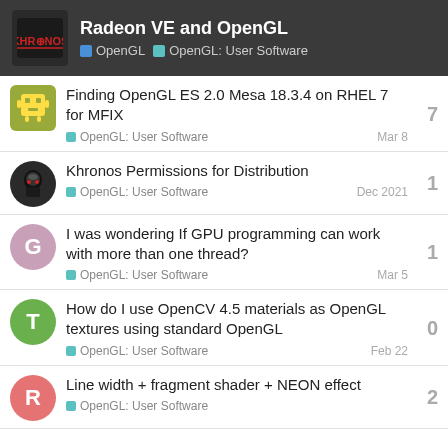Radeon VE and OpenGL | OpenGL | OpenGL: User Software
Finding OpenGL ES 2.0 Mesa 18.3.4 on RHEL 7 for MFIX | OpenGL: User Software | Mar 8 | 7 replies
Khronos Permissions for Distribution | OpenGL: User Software | Dec 2021 | 1 reply
I was wondering If GPU programming can work with more than one thread? | OpenGL: User Software | Mar 5 | 1 reply
How do I use OpenCV 4.5 materials as OpenGL textures using standard OpenGL | OpenGL: User Software | Feb 22 | 0 replies
Line width + fragment shader + NEON effect | OpenGL: User Software | 2 replies